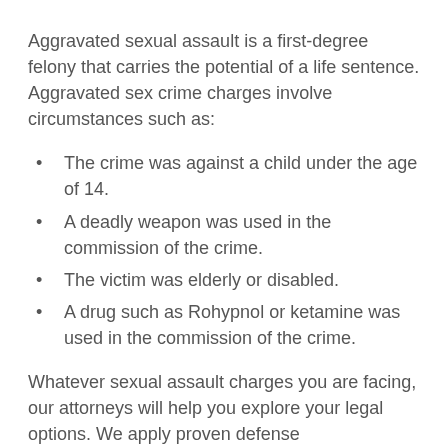Aggravated sexual assault is a first-degree felony that carries the potential of a life sentence. Aggravated sex crime charges involve circumstances such as:
The crime was against a child under the age of 14.
A deadly weapon was used in the commission of the crime.
The victim was elderly or disabled.
A drug such as Rohypnol or ketamine was used in the commission of the crime.
Whatever sexual assault charges you are facing, our attorneys will help you explore your legal options. We apply proven defense